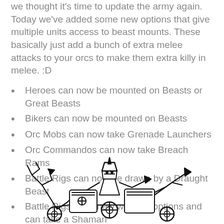we thought it's time to update the army again. Today we've added some new options that give multiple units access to beast mounts. These basically just add a bunch of extra melee attacks to your orcs to make them extra killy in melee. :D
Heroes can now be mounted on Beasts or Great Beasts
Bikers can now be mounted on Beasts
Orc Mobs can now take Grenade Launchers
Orc Commandos can now take Breach Rams
Battle Rigs can now be drawn by a Draught Beast
Battle Rigs have new weapon options and can take a Shaman
[Figure (illustration): Black and white line art illustration of fantasy orc war machines / battle rigs with weapons and mechanical parts]